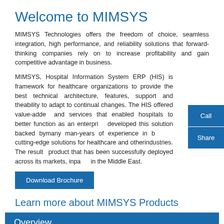Welcome to MIMSYS
MIMSYS Technologies offers the freedom of choice, seamless integration, high performance, and reliability solutions that forward-thinking companies rely on to increase profitability and gain competitive advantage in business.
MIMSYS, Hospital Information System ERP (HIS) is framework for healthcare organizations to provide the best technical architecture, features, support and theability to adapt to continual changes. The HIS offered value-added and services that enabled hospitals to better function as an enterprise developed this solution backed bymany man-years of experience in b cutting-edge solutions for healthcare and otherindustries. The result product that has been successfully deployed across its markets, inpa in the Middle East.
Download Brochure
Learn more about MIMSYS Products
Overview